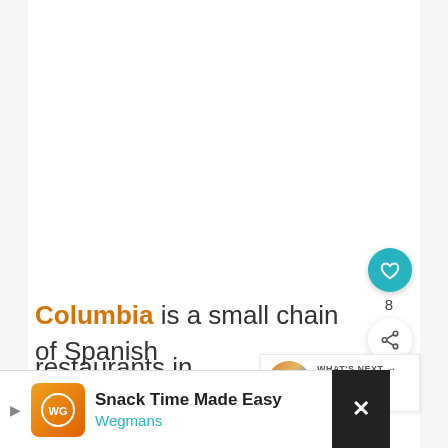[Figure (other): Large white/blank content area at top of article page]
Columbia is a small chain of Spanish restaurants in Florida—the orig
in Tampa's historic Ybor City. This
[Figure (other): Like/favorite button (teal circle with heart icon) with count 8, and share button (white circle with share icon)]
[Figure (other): What's Next panel: thumbnail image of sunset/water scene, label WHAT'S NEXT with arrow, title '2 Days in Fort Myers:...']
[Figure (other): Advertisement banner: Wegmans 'Snack Time Made Easy' ad with orange logo, navigation icon, and close button]